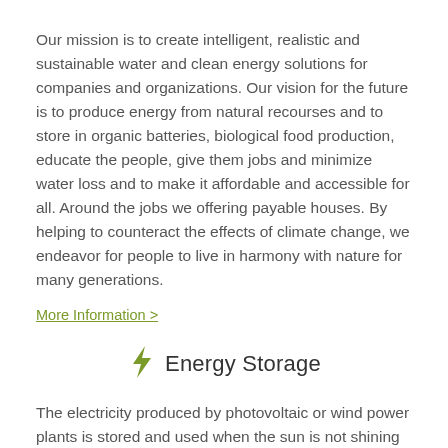Our mission is to create intelligent, realistic and sustainable water and clean energy solutions for companies and organizations. Our vision for the future is to produce energy from natural recourses and to store in organic batteries, biological food production, educate the people, give them jobs and minimize water loss and to make it affordable and accessible for all. Around the jobs we offering payable houses. By helping to counteract the effects of climate change, we endeavor for people to live in harmony with nature for many generations.
More Information >
Energy Storage
The electricity produced by photovoltaic or wind power plants is stored and used when the sun is not shining or when there is no wind.
Even if you don't have your own small power station, (powered